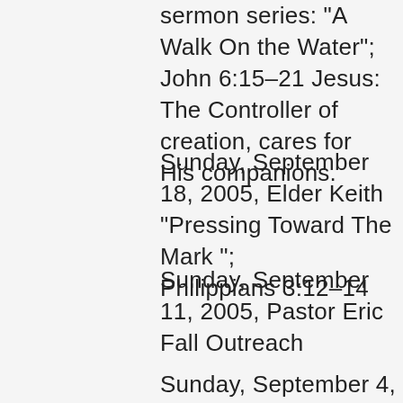sermon series: "A Walk On the Water"; John 6:15–21 Jesus: The Controller of creation, cares for His companions.
Sunday, September 18, 2005, Elder Keith "Pressing Toward The Mark "; Philippians 3:12–14
Sunday, September 11, 2005, Pastor Eric Fall Outreach
Sunday, September 4, 2005,